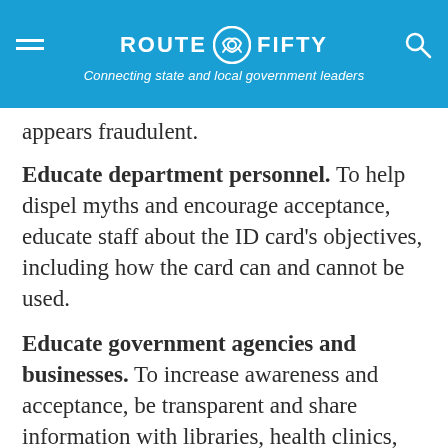ROUTE FIFTY — Connecting state and local government leaders
appears fraudulent.
Educate department personnel. To help dispel myths and encourage acceptance, educate staff about the ID card's objectives, including how the card can and cannot be used.
Educate government agencies and businesses. To increase awareness and acceptance, be transparent and share information with libraries, health clinics, pharmacies, school districts and utilities and others. Consider inviting representatives of these organizations and businesses to an ID drive to learn about the